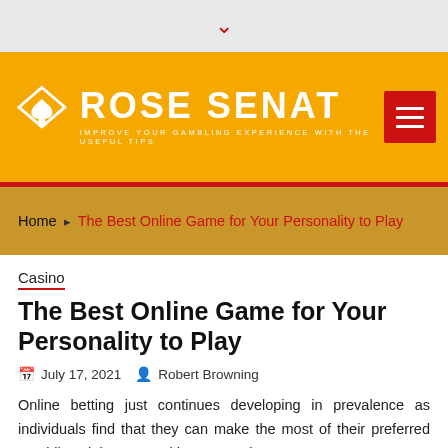[Figure (logo): Rose Senat website header with orange background, diamond/spade logo icon, site name 'ROSE SENAT', tagline 'IMPROVE YOUR GAMBLING EXPERIENCE WITH THE USEFUL TIPS', and red hamburger menu button]
Home › The Best Online Game for Your Personality to Play
Casino
The Best Online Game for Your Personality to Play
July 17, 2021  Robert Browning
Online betting just continues developing in prevalence as individuals find that they can make the most of their preferred gambling club games without venturing out